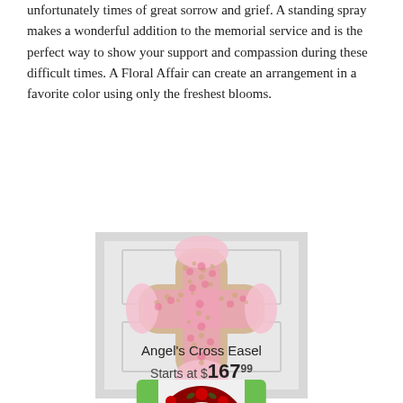Express your compassion there are times of happiness and joy and unfortunately times of great sorrow and grief. A standing spray makes a wonderful addition to the memorial service and is the perfect way to show your support and compassion during these difficult times. A Floral Affair can create an arrangement in a favorite color using only the freshest blooms.
[Figure (photo): A floral cross easel arrangement made with pink carnations and baby's breath on a white door with a black easel stand.]
Angel's Cross Easel
Starts at $167.99
Buy Now
[Figure (photo): A red floral wreath arrangement, partially visible at the bottom of the page.]